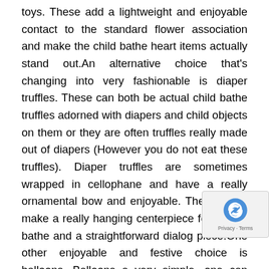toys. These add a lightweight and enjoyable contact to the standard flower association and make the child bathe heart items actually stand out.An alternative choice that's changing into very fashionable is diaper truffles. These can both be actual child bathe truffles adorned with diapers and child objects on them or they are often truffles really made out of diapers (However you do not eat these truffles). Diaper truffles are sometimes wrapped in cellophane and have a really ornamental bow and enjoyable. These could make a really hanging centerpiece for a child bathe and a straightforward dialog piece.One other enjoyable and festive choice is balloons. Balloons a very simple, one can simply go to their native get together retailer and have a bunch of balloons made into an association. Plus balloons are very festive they usually all the time say get together. So as to add somewhat e the bay bathe contact to balloons you may simply d rattles to the underside of the balloons as a weig...